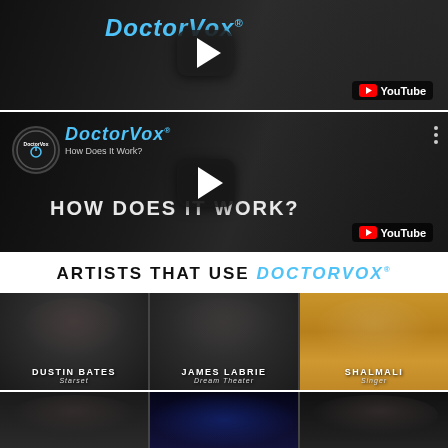[Figure (screenshot): DoctorVox YouTube video thumbnail - top video, showing a man and DoctorVox branding with play button]
[Figure (screenshot): DoctorVox 'How Does It Work?' YouTube video thumbnail with channel logo, play button, and tattooed man]
ARTISTS THAT USE DoctorVox
[Figure (photo): Grid of artists that use DoctorVox - Dustin Bates (Starset), James LaBrie (Dream Theater), Shalmali (Singer), and three more artists in bottom row]